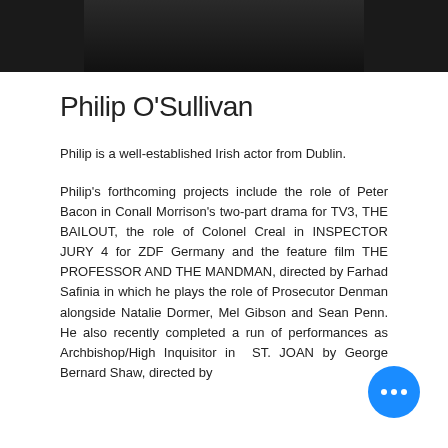[Figure (photo): Dark photograph of Philip O'Sullivan cropped at top of page]
Philip O'Sullivan
Philip is a well-established Irish actor from Dublin.
Philip's forthcoming projects include the role of Peter Bacon in Conall Morrison's two-part drama for TV3, THE BAILOUT, the role of Colonel Creal in INSPECTOR JURY 4 for ZDF Germany and the feature film THE PROFESSOR AND THE MANDMAN, directed by Farhad Safinia in which he plays the role of Prosecutor Denman alongside Natalie Dormer, Mel Gibson and Sean Penn. He also recently completed a run of performances as Archbishop/High Inquisitor in ST. JOAN by George Bernard Shaw, directed by